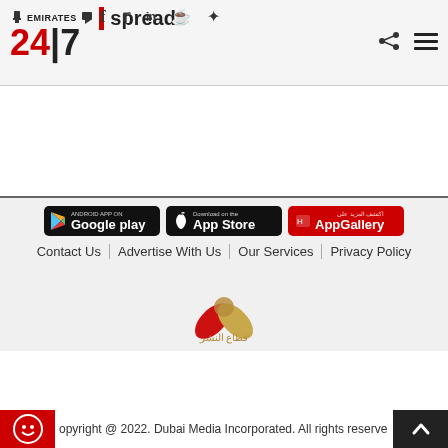Emirates 24|7 - spread
Contact Us  Advertise With Us  Our Services  Privacy Policy
[Figure (logo): Emirates 24|7 logo with social media icons (Facebook, Twitter, LinkedIn, WhatsApp, Pinterest) and share/menu buttons]
[Figure (logo): Google Play app badge]
[Figure (logo): App Store download badge]
[Figure (logo): Huawei AppGallery badge]
[Figure (logo): Dubai Media Incorporated publisher logo with Arabic text قطاع النشر]
Copyright @ 2022. Dubai Media Incorporated. All rights reserved